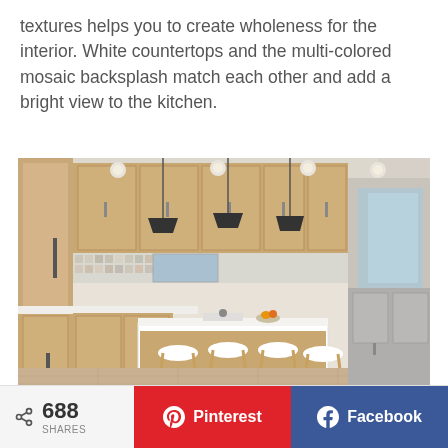textures helps you to create wholeness for the interior. White countertops and the multi-colored mosaic backsplash match each other and add a bright view to the kitchen.
[Figure (photo): Modern kitchen interior with light wood cabinetry, white island with bar stools, pendant lights, mosaic backsplash, and large windows.]
688 SHARES | Pinterest | Facebook